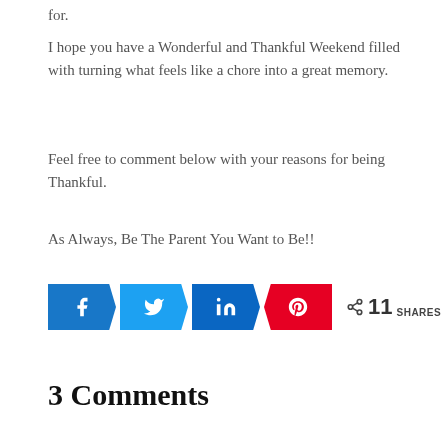for.
I hope you have a Wonderful and Thankful Weekend filled with turning what feels like a chore into a great memory.
Feel free to comment below with your reasons for being Thankful.
As Always, Be The Parent You Want to Be!!
[Figure (infographic): Social share buttons: Facebook, Twitter, LinkedIn, Pinterest. Share count: 11 SHARES.]
3 Comments